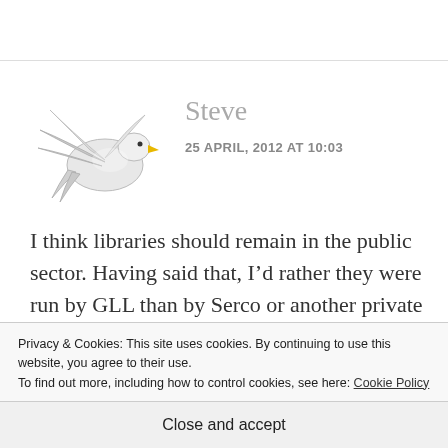[Figure (illustration): White dove/bird avatar used as commenter profile picture]
Steve
25 APRIL, 2012 AT 10:03
I think libraries should remain in the public sector. Having said that, I’d rather they were run by GLL than by Serco or another private company just wanting to make a profit.
Privacy & Cookies: This site uses cookies. By continuing to use this website, you agree to their use.
To find out more, including how to control cookies, see here: Cookie Policy
Close and accept